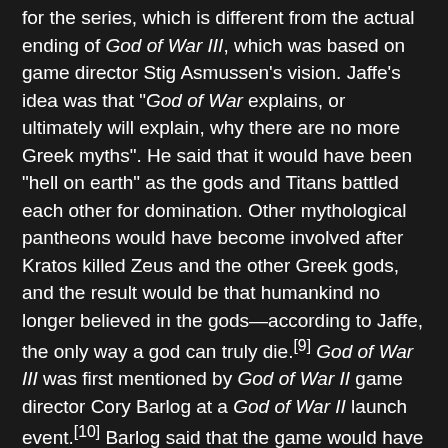for the series, which is different from the actual ending of God of War III, which was based on game director Stig Asmussen's vision. Jaffe's idea was that "God of War explains, or ultimately will explain, why there are no more Greek myths". He said that it would have been "hell on earth" as the gods and Titans battled each other for domination. Other mythological pantheons would have become involved after Kratos killed Zeus and the other Greek gods, and the result would be that humankind no longer believed in the gods—according to Jaffe, the only way a god can truly die.[9] God of War III was first mentioned by God of War II game director Cory Barlog at a God of War II launch event.[10] Barlog said that the game would have full p HD resolution (changed to p in final release[11]) and support Sixaxis tilt and vibration functions.[12] Announced before the DualShock 3 controller was introduced, this caused confusion since the Sixaxis